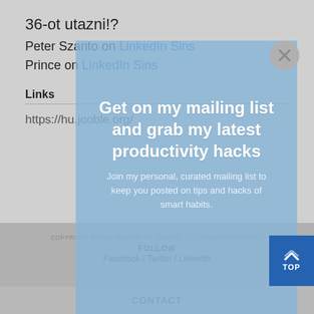36-ot utazni!?
Peter Szanto on LinkedIn Sins
Prince on LinkedIn Sins
Links
https://hu.jooble.org/
[Figure (screenshot): Blue overlay modal with headline 'Get on my mailing list and grab my latest productivity hacks' and subtext about joining mailing list for productivity tips]
COPYRIGHT © 2016-2018 PÉTER SZANTO - ALL RIGHTS RESERVED
FOLLOW
Facebook / Twitter / LinkedIn
CONTACT